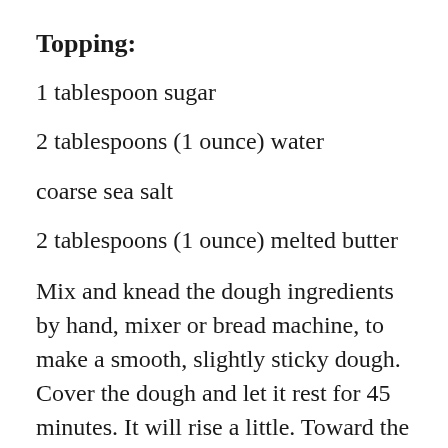Topping:
1 tablespoon sugar
2 tablespoons (1 ounce) water
coarse sea salt
2 tablespoons (1 ounce) melted butter
Mix and knead the dough ingredients by hand, mixer or bread machine, to make a smooth, slightly sticky dough. Cover the dough and let it rest for 45 minutes. It will rise a little. Toward the end of the